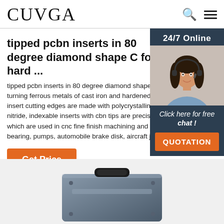CUVGA
tipped pcbn inserts in 80 degree diamond shape C for hard ...
tipped pcbn inserts in 80 degree diamond shape C for turning ferrous metals of cast iron and hardened steel, insert cutting edges are made with polycrystalline cubic boron nitride, indexable inserts with cbn tips are precision cutting tools, which are used in cnc fine finish machining and turning roller, bearing, pumps, automobile brake disk, aircraft jet engine.
[Figure (photo): Customer support woman with headset, 24/7 Online banner and QUOTATION button]
[Figure (photo): Industrial product box/case shown from above, dark grey color]